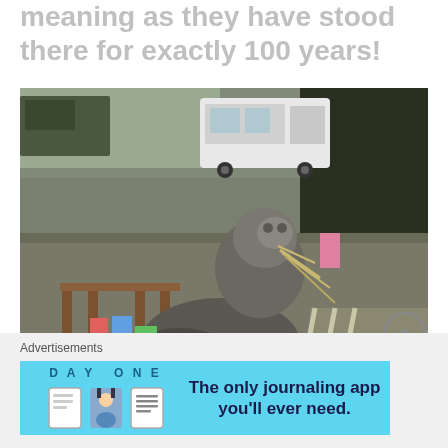meaning as they have stood there for exactly 100 years!
[Figure (photo): Outdoor scene showing a stone guardian lion (komainu/shisa) statue in a gravel courtyard or parking area, with a wooden table visible to the left, a white van in the background, and various items scattered around. The stone figure appears weathered with straw decorations.]
Advertisements
[Figure (screenshot): Advertisement banner for DAY ONE journaling app with light blue background showing app icons and the tagline 'The only journaling app you'll ever need.']